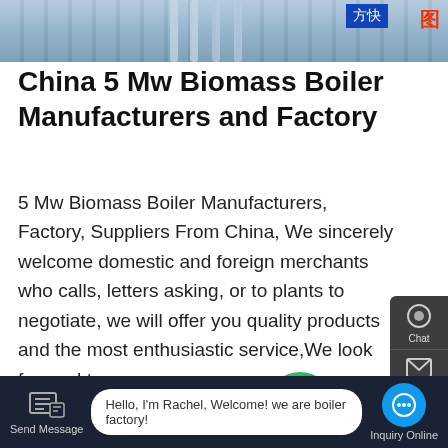[Figure (photo): Top portion of a boiler factory interior with industrial equipment, blue signage with Chinese characters in red]
China 5 Mw Biomass Boiler Manufacturers and Factory
5 Mw Biomass Boiler Manufacturers, Factory, Suppliers From China, We sincerely welcome domestic and foreign merchants who calls, letters asking, or to plants to negotiate, we will offer you quality products and the most enthusiastic service,We look forward to …
[Figure (screenshot): Learn More button (blue/teal), WhatsApp green circle icon, Contact us now! green bubble]
[Figure (photo): Bottom portion showing industrial boiler facility ceiling interior, dark steel structure]
Hello, I'm Rachel, Welcome! we are boiler factory!
Send Message
Inquiry Online